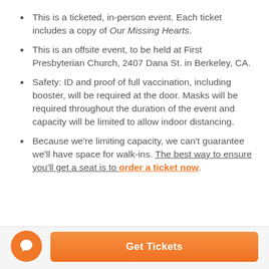This is a ticketed, in-person event. Each ticket includes a copy of Our Missing Hearts.
This is an offsite event, to be held at First Presbyterian Church, 2407 Dana St. in Berkeley, CA.
Safety: ID and proof of full vaccination, including booster, will be required at the door. Masks will be required throughout the duration of the event and capacity will be limited to allow indoor distancing.
Because we're limiting capacity, we can't guarantee we'll have space for walk-ins. The best way to ensure you'll get a seat is to order a ticket now.
Get Tickets